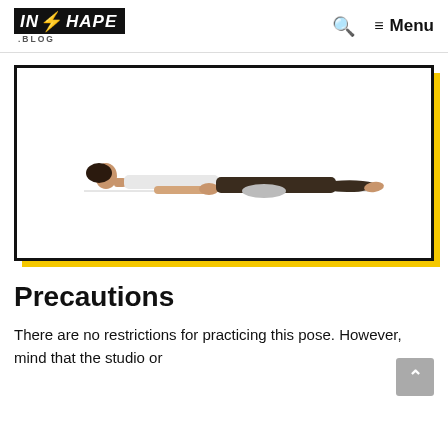INSHAPE .BLOG  🔍  ≡ Menu
[Figure (photo): A person lying flat on their back in a yoga resting pose (Savasana/corpse pose) on a white background, wearing a white top and dark pants, with knees slightly supported by a small pillow.]
Precautions
There are no restrictions for practicing this pose. However, mind that the studio or